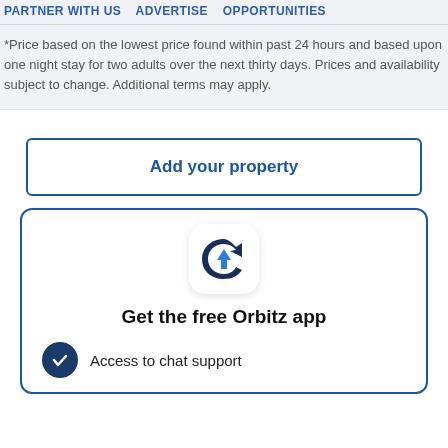PARTNER WITH US ADVERTISE OPPORTUNITIES
*Price based on the lowest price found within past 24 hours and based upon one night stay for two adults over the next thirty days. Prices and availability subject to change. Additional terms may apply.
Add your property
[Figure (logo): Orbitz app icon: dark navy arrow curl with a blue upward arrow inside, on a white rounded square background]
Get the free Orbitz app
Access to chat support